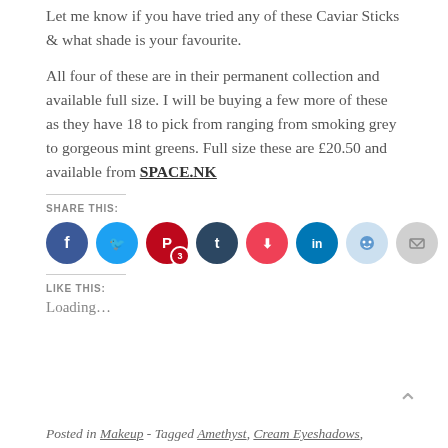Let me know if you have tried any of these Caviar Sticks & what shade is your favourite.
All four of these are in their permanent collection and available full size. I will be buying a few more of these as they have 18 to pick from ranging from smoking grey to gorgeous mint greens. Full size these are £20.50 and available from SPACE.NK
SHARE THIS:
[Figure (infographic): Row of social media sharing icon circles: Facebook (blue), Twitter (light blue), Pinterest (red, with badge 3), Tumblr (dark navy), Pocket (red), LinkedIn (teal), Reddit (light blue), Email (grey)]
LIKE THIS:
Loading...
Posted in Makeup - Tagged Amethyst, Cream Eyeshadows,